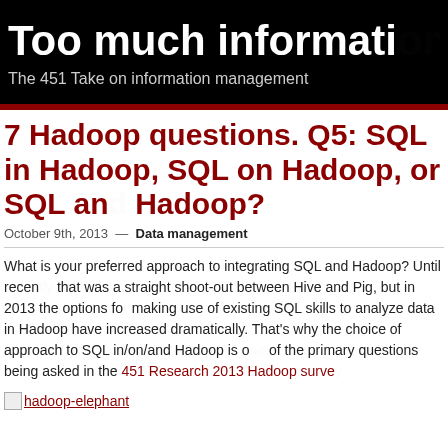Too much information
The 451 Take on information management
7 Hadoop questions. Q5: SQL in Hadoop, SQL on Hadoop, or SQL and Hadoop?
October 9th, 2013 — Data management
What is your preferred approach to integrating SQL and Hadoop? Until recently that was a straight shoot-out between Hive and Pig, but in 2013 the options for making use of existing SQL skills to analyze data in Hadoop have increased dramatically. That's why the choice of approach to SQL in/on/and Hadoop is one of the primary questions being asked in the 451 Research 2013 Hadoop survey
[Figure (photo): hadoop-elephant image (broken/placeholder link)]